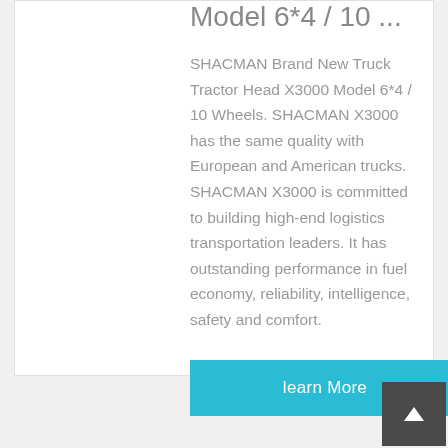Model 6*4 / 10 ...
SHACMAN Brand New Truck Tractor Head X3000 Model 6*4 / 10 Wheels. SHACMAN X3000 has the same quality with European and American trucks. SHACMAN X3000 is committed to building high-end logistics transportation leaders. It has outstanding performance in fuel economy, reliability, intelligence, safety and comfort.
learn More